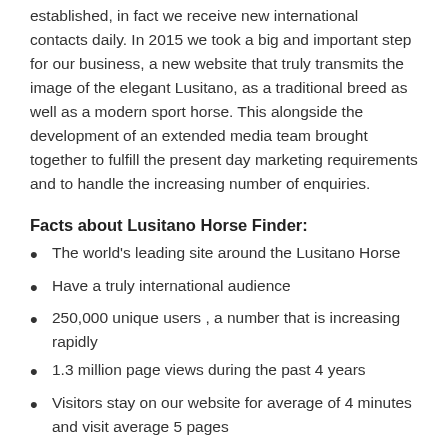established, in fact we receive new international contacts daily. In 2015 we took a big and important step for our business, a new website that truly transmits the image of the elegant Lusitano, as a traditional breed as well as a modern sport horse. This alongside the development of an extended media team brought together to fulfill the present day marketing requirements and to handle the increasing number of enquiries.
Facts about Lusitano Horse Finder:
The world's leading site around the Lusitano Horse
Have a truly international audience
250,000 unique users , a number that is increasing rapidly
1.3 million page views during the past 4 years
Visitors stay on our website for average of 4 minutes and visit average 5 pages